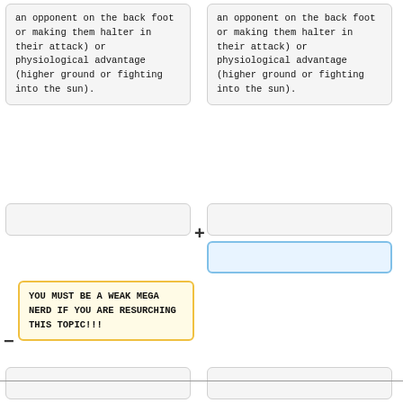an opponent on the back foot or making them halter in their attack) or physiological advantage (higher ground or fighting into the sun).
an opponent on the back foot or making them halter in their attack) or physiological advantage (higher ground or fighting into the sun).
YOU MUST BE A WEAK MEGA NERD IF YOU ARE RESURCHING THIS TOPIC!!!
==Jokes about Fighting Methods==
==Jokes about Fighting Methods==